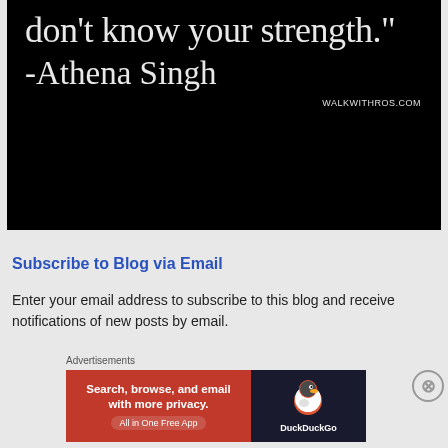[Figure (other): Black background image with white serif text showing a quote: 'don't know your strength.' -Athena Singh with WALKWITHROS.COM at the bottom right]
Subscribe to Blog via Email
Enter your email address to subscribe to this blog and receive notifications of new posts by email.
Advertisements
[Figure (other): DuckDuckGo advertisement banner. Left side orange/red with text 'Search, browse, and email with more privacy. All in One Free App'. Right side dark with DuckDuckGo logo and name.]